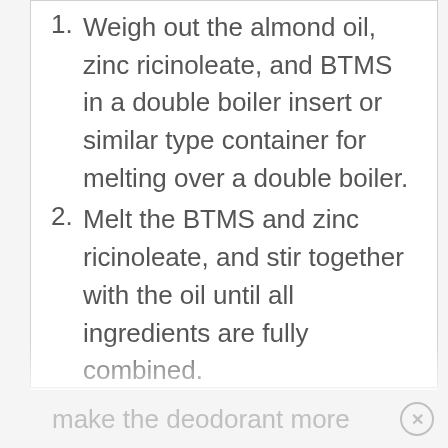1. Weigh out the almond oil, zinc ricinoleate, and BTMS in a double boiler insert or similar type container for melting over a double boiler.
2. Melt the BTMS and zinc ricinoleate, and stir together with the oil until all ingredients are fully combined.
3. Separately, weigh out the water, glycerin, and zinc PCA. (If you find you need a more effective deodorant, you can add more than 1g of zinc PCA, but it may make the deodorant more